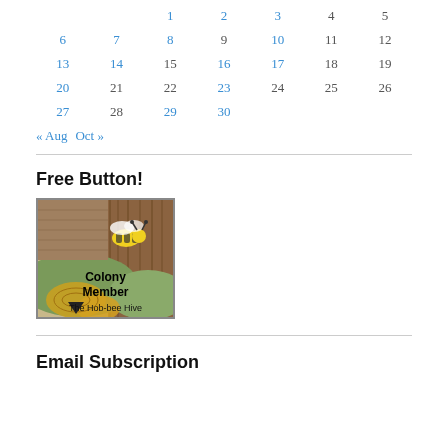| 1 | 2 | 3 | 4 | 5 |
| 6 | 7 | 8 | 9 | 10 | 11 | 12 |
| 13 | 14 | 15 | 16 | 17 | 18 | 19 |
| 20 | 21 | 22 | 23 | 24 | 25 | 26 |
| 27 | 28 | 29 | 30 |  |  |  |
« Aug   Oct »
Free Button!
[Figure (illustration): Colony Member badge for The Hob-bee Hive, showing a illustrated bee over honeycomb and floral background]
Email Subscription